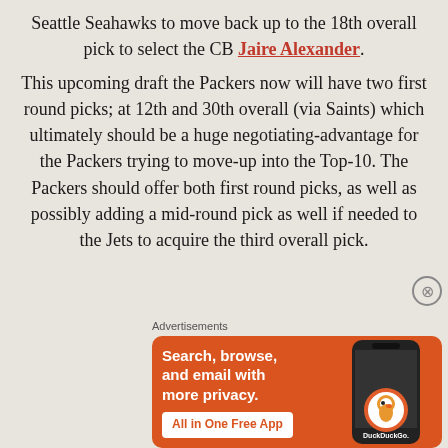Seattle Seahawks to move back up to the 18th overall pick to select the CB Jaire Alexander.
This upcoming draft the Packers now will have two first round picks; at 12th and 30th overall (via Saints) which ultimately should be a huge negotiating-advantage for the Packers trying to move-up into the Top-10. The Packers should offer both first round picks, as well as possibly adding a mid-round pick as well if needed to the Jets to acquire the third overall pick.
Advertisements
[Figure (other): DuckDuckGo advertisement banner: Search, browse, and email with more privacy. All in One Free App. Shows a phone with DuckDuckGo logo.]